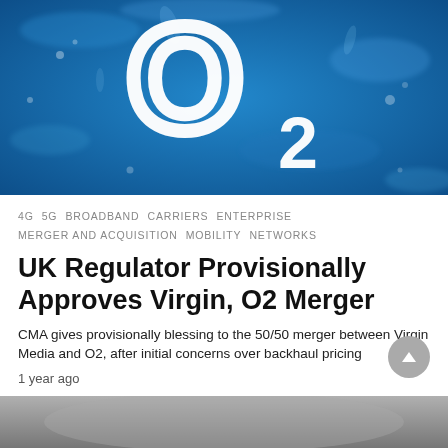[Figure (photo): O2 logo on a blue water/bubbles background — large white letter O with a subscript 2]
4G  5G  BROADBAND  CARRIERS  ENTERPRISE  MERGER AND ACQUISITION  MOBILITY  NETWORKS
UK Regulator Provisionally Approves Virgin, O2 Merger
CMA gives provisionally blessing to the 50/50 merger between Virgin Media and O2, after initial concerns over backhaul pricing
1 year ago
[Figure (photo): Partial bottom image, appears to be a person or object, partially visible at bottom of page]